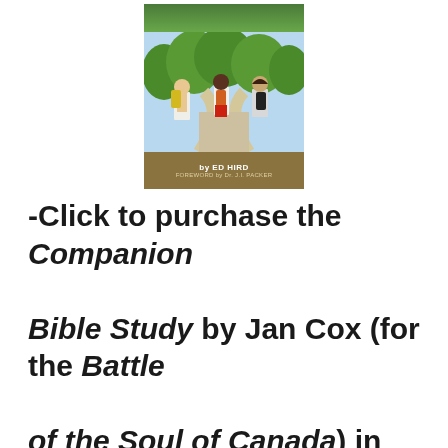[Figure (photo): Book cover showing three young people with backpacks walking away from camera, with author credit 'by ED HIRD' and 'FOREWORD by Dr. J.I. PACKER' on a brown banner at the bottom.]
-Click to purchase the Companion Bible Study by Jan Cox (for the Battle of the Soul of Canada) in both paperback and Kindle on Amazon.com and Amazon.ca